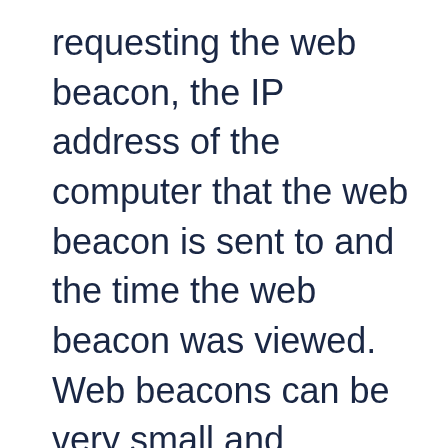requesting the web beacon, the IP address of the computer that the web beacon is sent to and the time the web beacon was viewed. Web beacons can be very small and invisible to the user, but, in general, any electronic image viewed as